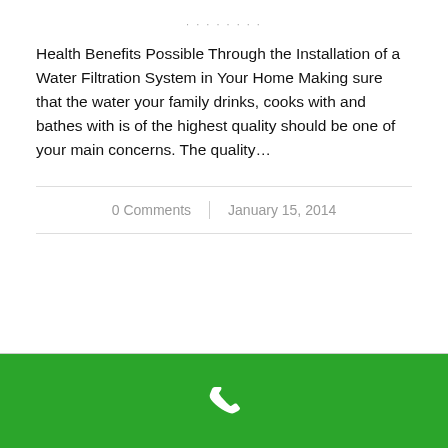· · · · · · · ·
Health Benefits Possible Through the Installation of a Water Filtration System in Your Home Making sure that the water your family drinks, cooks with and bathes with is of the highest quality should be one of your main concerns. The quality…
0 Comments | January 15, 2014
[Figure (illustration): Green footer bar with a white phone icon in the center]